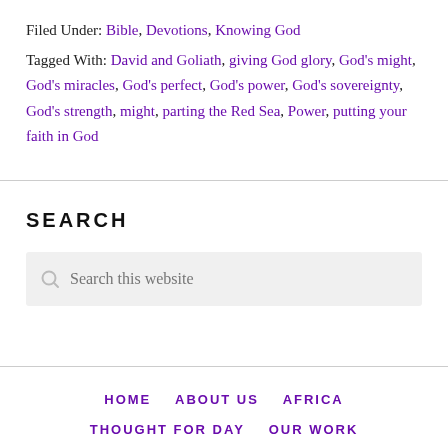Filed Under: Bible, Devotions, Knowing God
Tagged With: David and Goliath, giving God glory, God's might, God's miracles, God's perfect, God's power, God's sovereignty, God's strength, might, parting the Red Sea, Power, putting your faith in God
SEARCH
Search this website
HOME   ABOUT US   AFRICA   THOUGHT FOR DAY   OUR WORK   HELP AFRICA   CONTACT